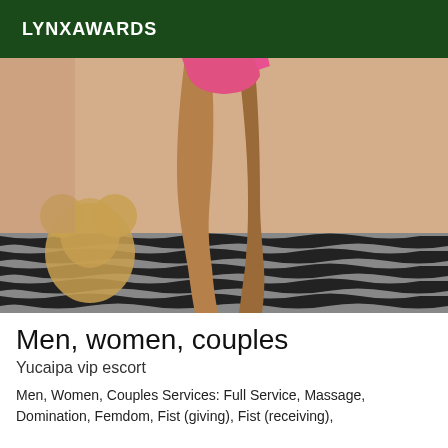LYNXAWARDS
[Figure (photo): A person standing on a zebra-print bed/surface, viewed from behind, wearing a red bikini bottom. A stuffed teddy bear is visible in the lower left. Warm beige/pink wall background.]
Men, women, couples
Yucaipa vip escort
Men, Women, Couples Services: Full Service, Massage, Domination, Femdom, Fist (giving), Fist (receiving),